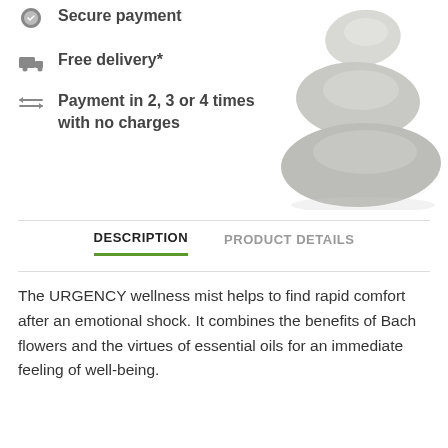Secure payment
Free delivery*
Payment in 2, 3 or 4 times with no charges
[Figure (photo): Stack of three smooth rounded grey zen stones balanced on top of each other on white background]
DESCRIPTION | PRODUCT DETAILS
The URGENCY wellness mist helps to find rapid comfort after an emotional shock. It combines the benefits of Bach flowers and the virtues of essential oils for an immediate feeling of well-being.